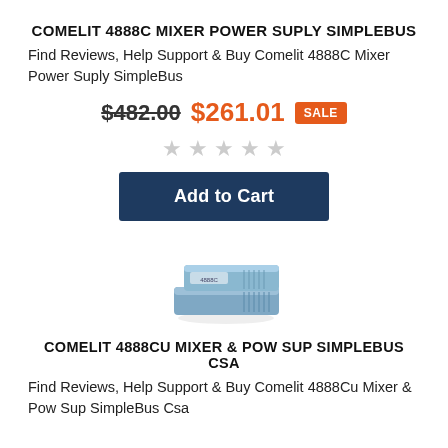COMELIT 4888C MIXER POWER SUPLY SIMPLEBUS
Find Reviews, Help Support & Buy Comelit 4888C Mixer Power Suply SimpleBus
$482.00 $261.01 SALE
[Figure (other): Five empty star rating icons]
Add to Cart
[Figure (photo): Product photo of Comelit 4888C Mixer Power Supply Simplebus device — a small blue/grey rectangular electronic unit]
COMELIT 4888CU MIXER & POW SUP SIMPLEBUS CSA
Find Reviews, Help Support & Buy Comelit 4888Cu Mixer & Pow Sup SimpleBus Csa